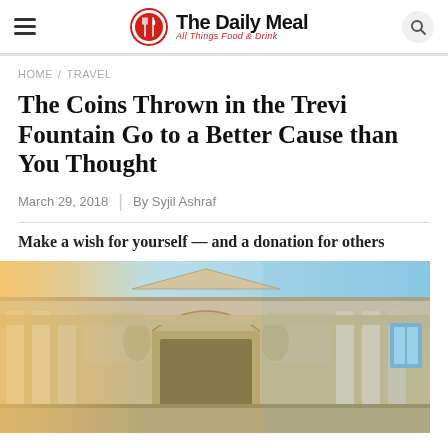The Daily Meal — All Things Food & Drink
HOME / TRAVEL
The Coins Thrown in the Trevi Fountain Go to a Better Cause than You Thought
March 29, 2018 | By Syjil Ashraf
Make a wish for yourself — and a donation for others
[Figure (photo): Photograph of the Trevi Fountain facade in Rome, showing ornate Baroque architecture with columns, arches, and sculptural details. The image has a warm golden/orange tone on the left from sunlight, and a cooler blue tone on the right.]